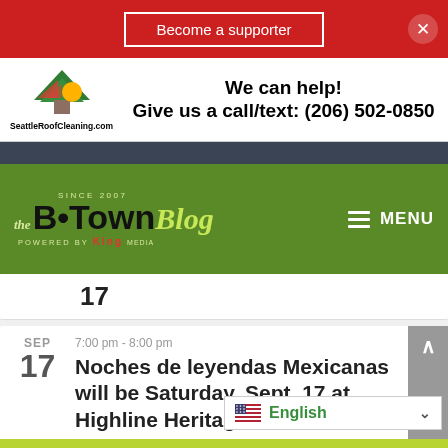[Figure (screenshot): Red banner with 'Become a supporter' button and close X icon]
[Figure (screenshot): Seattle Roof Cleaning advertisement: logo on left, 'We can help! Give us a call/text: (206) 502-0850' text, SeattleRoofCleaning.com]
[Figure (screenshot): The B-Town Blog logo on green header with MENU hamburger icon. Since 2007. Powered by King Media.]
17
SEP
17
7:00 pm - 8:00 pm
Noches de leyendas Mexicanas will be Saturday, Sept. 17 at Highline Heritage Museum
View Calendar
[Figure (screenshot): Language selector showing US flag and 'English' with dropdown arrow]